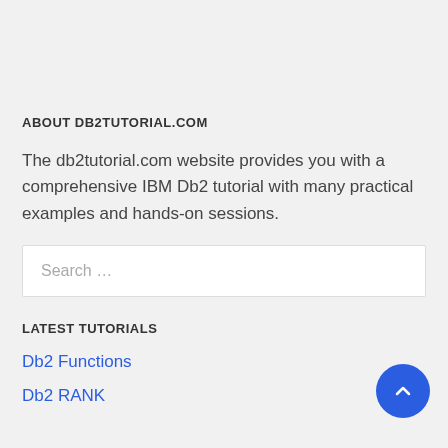ABOUT DB2TUTORIAL.COM
The db2tutorial.com website provides you with a comprehensive IBM Db2 tutorial with many practical examples and hands-on sessions.
[Figure (other): Search input box with placeholder text 'Search …']
LATEST TUTORIALS
Db2 Functions
Db2 RANK